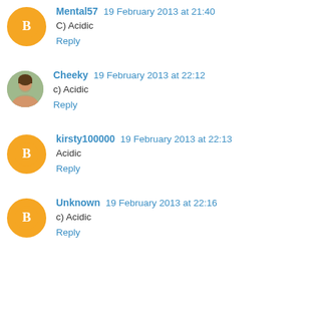Mental57 19 February 2013 at 21:40
C) Acidic
Reply
Cheeky 19 February 2013 at 22:12
c) Acidic
Reply
kirsty100000 19 February 2013 at 22:13
Acidic
Reply
Unknown 19 February 2013 at 22:16
c) Acidic
Reply